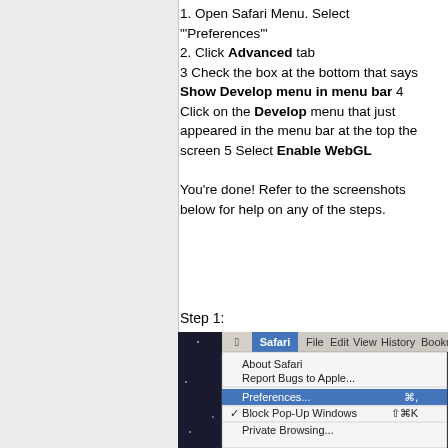1. Open Safari Menu. Select "'Preferences'"
2. Click Advanced tab
3 Check the box at the bottom that says Show Develop menu in menu bar 4 Click on the Develop menu that just appeared in the menu bar at the top the screen 5 Select Enable WebGL

You're done! Refer to the screenshots below for help on any of the steps.
Step 1:
[Figure (screenshot): macOS Safari menu open showing options: About Safari, Report Bugs to Apple..., Preferences... (highlighted in blue with shortcut ⌘,), Block Pop-Up Windows (checked, shortcut ⇧⌘K), Private Browsing..., Reset Safari..., Empty Cache... (shortcut ⌥⌘E), Services, Hide Safari (⌘H). Menu bar shows Apple logo, Safari (selected/highlighted), File, Edit, View, History, Bookm...]